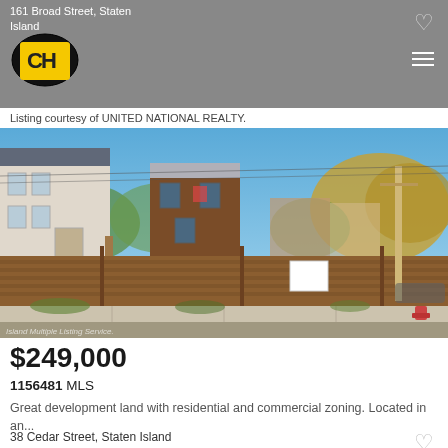161 Broad Street, Staten Island
[Figure (logo): Century 21 or similar real estate agency logo — yellow square with stylized 'C' letters and black oval border]
Listing courtesy of UNITED NATIONAL REALTY.
[Figure (photo): Street-level photo of a vacant lot enclosed by a horizontal wooden fence with a white sign, adjacent to multi-family houses on Staten Island. A utility pole is visible on the right. Background shows trees and residential buildings under a clear blue sky.]
$249,000
1156481 MLS
Great development land with residential and commercial zoning. Located in an...
38 Cedar Street, Staten Island